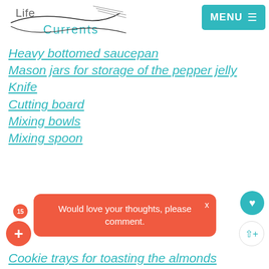[Figure (logo): Life Currents logo with stylized wave/line graphic and teal text]
[Figure (screenshot): MENU button teal rectangle with hamburger icon]
Heavy bottomed saucepan
Mason jars for storage of the pepper jelly
Knife
Cutting board
Mixing bowls
Mixing spoon
[Figure (screenshot): Orange popup overlay with text: Would love your thoughts, please comment. with X close button]
Cookie trays for toasting the almonds